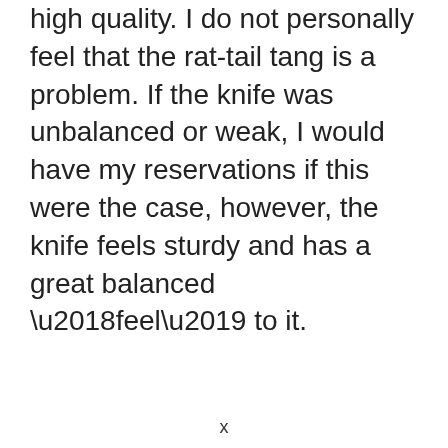high quality. I do not personally feel that the rat-tail tang is a problem. If the knife was unbalanced or weak, I would have my reservations if this were the case, however, the knife feels sturdy and has a great balanced ‘feel’ to it.
x